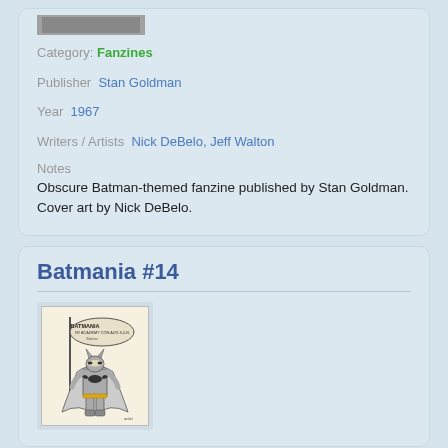[Figure (photo): Top portion of a fanzine cover image, partially visible at top of first card]
Category: Fanzines
Publisher  Stan Goldman
Year  1967
Writers / Artists  Nick DeBelo, Jeff Walton
Notes
Obscure Batman-themed fanzine published by Stan Goldman. Cover art by Nick DeBelo.
Batmania #14
[Figure (illustration): Cover of Batmania #14 showing Batman standing in front of a flag reading 'Batmania NY Academy Con Aug 3-5-N', black and white illustration]